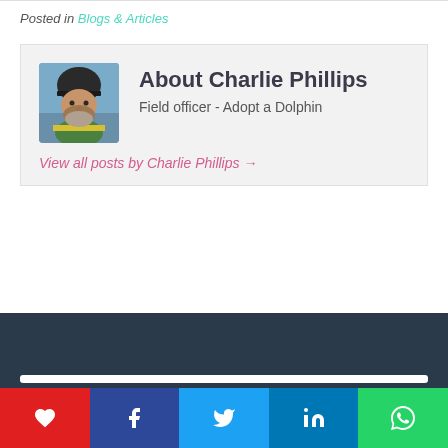Posted in Blogs & Articles
[Figure (other): Author bio box with photo of Charlie Phillips wearing a dark beanie hat outdoors. Box contains author name 'About Charlie Phillips', role 'Field officer - Adopt a Dolphin', and link 'View all posts by Charlie Phillips →']
[Figure (other): Dark navy footer bar with a white search/input bar visible at the top. Bottom row has five social sharing buttons: heart (red), Facebook (dark blue), Twitter (light blue), LinkedIn (blue), WhatsApp (green).]